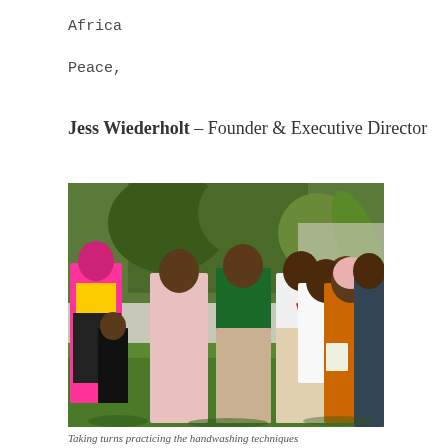Africa
Peace,
Jess Wiederholt – Founder & Executive Director
[Figure (photo): A group of people standing outdoors on grass near trees, appearing to practice handwashing techniques, with colorful clothing visible including a pink hijab and orange dress.]
Taking turns practicing the handwashing techniques